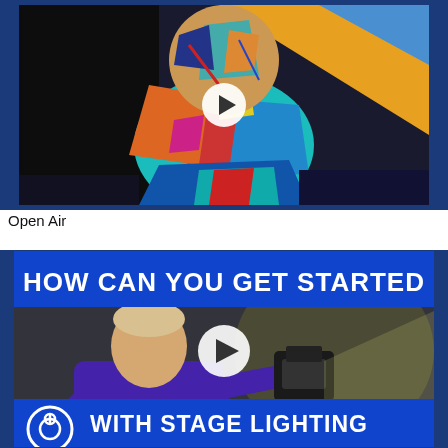[Figure (screenshot): Video thumbnail showing a colorful expressionist painting of a figure with vibrant colors — blues, oranges, reds, teals — with a white play button overlay in the center. Dark blue background surrounds the thumbnail.]
Open Air
[Figure (screenshot): Video thumbnail showing a man in a purple shirt gesturing toward a stage lighting fixture. Text overlaid on a blue banner reads 'HOW CAN YOU GET STARTED' at top and 'WITH STAGE LIGHTING' at bottom, and partially visible 'FROM NOTHING' at very bottom. A white play button is in the center. A white circular logo icon is bottom-left.]